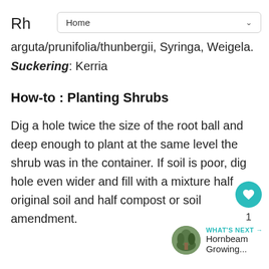Rh  Home
arguta/prunifolia/thunbergii, Syringa, Weigela. Suckering: Kerria
How-to : Planting Shrubs
Dig a hole twice the size of the root ball and deep enough to plant at the same level the shrub was in the container. If soil is poor, dig hole even wider and fill with a mixture half original soil and half compost or soil amendment.
[Figure (other): What's Next thumbnail with image of a path through trees, label reading WHAT'S NEXT → Hornbeam Growing...]